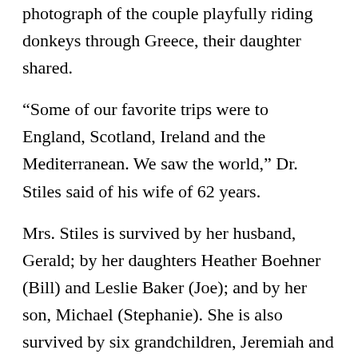photograph of the couple playfully riding donkeys through Greece, their daughter shared.
“Some of our favorite trips were to England, Scotland, Ireland and the Mediterranean. We saw the world,” Dr. Stiles said of his wife of 62 years.
Mrs. Stiles is survived by her husband, Gerald; by her daughters Heather Boehner (Bill) and Leslie Baker (Joe); and by her son, Michael (Stephanie). She is also survived by six grandchildren, Jeremiah and Patrick Boehner; Bethany and Andrew Baker; and Genevieve and Johnson Stiles; and by one great-grandson, Lincoln Broughton.
A viewing will be held on Thursday, December 11 from 5 to 8 p.m. at Todd Memorial Chapel in